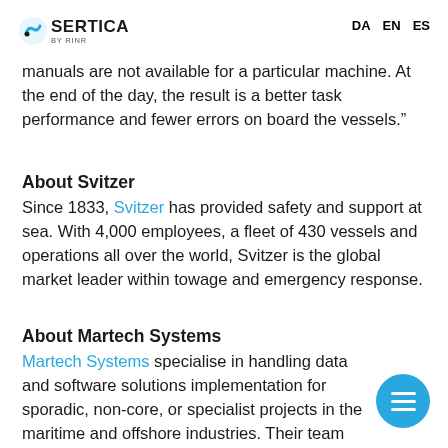SERTICA BY RINR  DA  EN  ES
manuals are not available for a particular machine. At the end of the day, the result is a better task performance and fewer errors on board the vessels.”
About Svitzer
Since 1833, Svitzer has provided safety and support at sea. With 4,000 employees, a fleet of 430 vessels and operations all over the world, Svitzer is the global market leader within towage and emergency response.
About Martech Systems
Martech Systems specialise in handling data and software solutions implementation for sporadic, non-core, or specialist projects in the maritime and offshore industries. Their team consists of marine, mechanical and software engineers who have vast experience in data and software solutions.